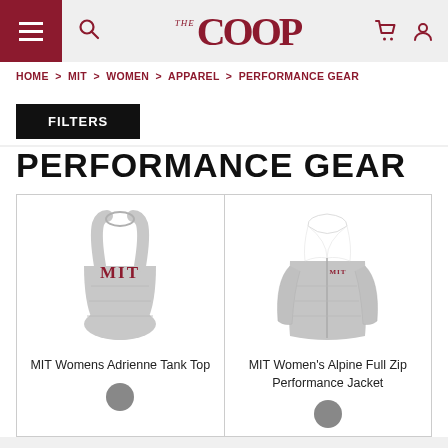THE COOP — Navigation header with menu, search, logo, cart, and user icons
HOME > MIT > WOMEN > APPAREL > PERFORMANCE GEAR
FILTERS
PERFORMANCE GEAR
[Figure (photo): MIT Womens Adrienne Tank Top - grey sleeveless tank with MIT text in maroon]
MIT Womens Adrienne Tank Top
[Figure (photo): MIT Women's Alpine Full Zip Performance Jacket - grey zip-up jacket with white collar and MIT logo]
MIT Women's Alpine Full Zip Performance Jacket